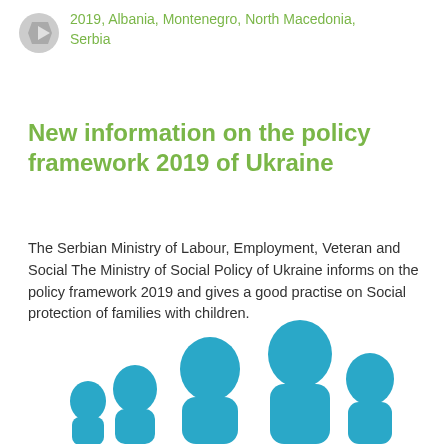2019, Albania, Montenegro, North Macedonia, Serbia
New information on the policy framework 2019 of Ukraine
The Serbian Ministry of Labour, Employment, Veteran and Social The Ministry of Social Policy of Ukraine informs on the policy framework 2019 and gives a good practise on Social protection of families with children.
[Figure (illustration): Blue silhouette illustration of a family with adults and children]